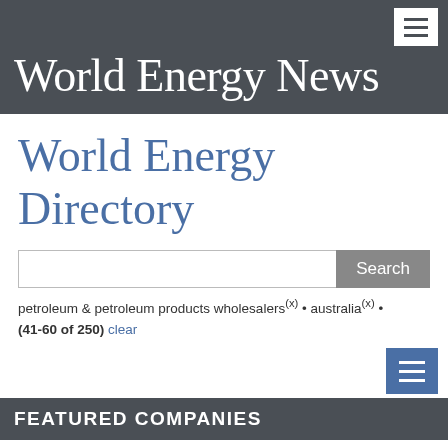World Energy News
World Energy Directory
petroleum & petroleum products wholesalers(x) • australia(x) • (41-60 of 250) clear
FEATURED COMPANIES
A.C.N. 000 370 150 PTY LTD